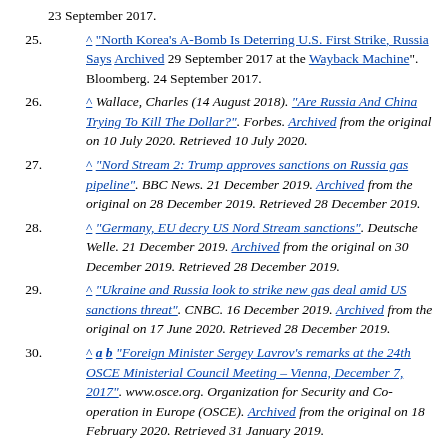25. ^ "North Korea's A-Bomb Is Deterring U.S. First Strike, Russia Says Archived 29 September 2017 at the Wayback Machine". Bloomberg. 24 September 2017.
26. ^ Wallace, Charles (14 August 2018). "Are Russia And China Trying To Kill The Dollar?". Forbes. Archived from the original on 10 July 2020. Retrieved 10 July 2020.
27. ^ "Nord Stream 2: Trump approves sanctions on Russia gas pipeline". BBC News. 21 December 2019. Archived from the original on 28 December 2019. Retrieved 28 December 2019.
28. ^ "Germany, EU decry US Nord Stream sanctions". Deutsche Welle. 21 December 2019. Archived from the original on 30 December 2019. Retrieved 28 December 2019.
29. ^ "Ukraine and Russia look to strike new gas deal amid US sanctions threat". CNBC. 16 December 2019. Archived from the original on 17 June 2020. Retrieved 28 December 2019.
30. ^ a b "Foreign Minister Sergey Lavrov's remarks at the 24th OSCE Ministerial Council Meeting – Vienna, December 7, 2017". www.osce.org. Organization for Security and Co-operation in Europe (OSCE). Archived from the original on 18 February 2020. Retrieved 31 January 2019.
31. ^ "Ukrainian Language Bill Facing Barrage Of Criticism From Minorities, Foreign Capitals". Radio Free